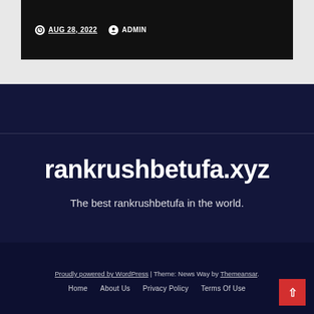AUG 28, 2022  ADMIN
rankrushbetufa.xyz
The best rankrushbetufa in the world.
Proudly powered by WordPress | Theme: News Way by Themeansar.
Home  About Us  Privacy Policy  Terms Of Use